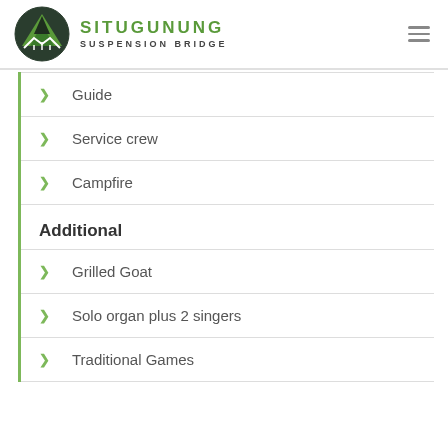SITUGUNUNG SUSPENSION BRIDGE
Guide
Service crew
Campfire
Additional
Grilled Goat
Solo organ plus 2 singers
Traditional Games